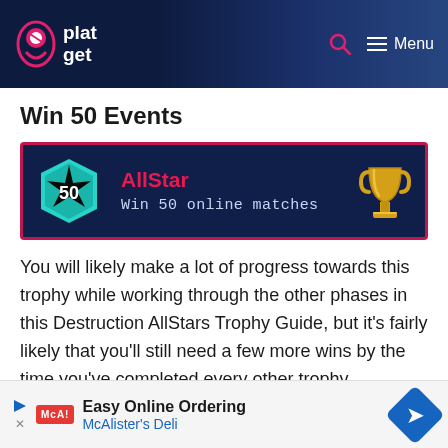platget — Menu
Win 50 Events
[Figure (infographic): Trophy card with teal badge showing '50', AllStar title in red, 'Win 50 online matches' subtitle, gold trophy cup icon on dark navy background with pink border]
You will likely make a lot of progress towards this trophy while working through the other phases in this Destruction AllStars Trophy Guide, but it's fairly likely that you'll still need a few more wins by the time you've completed every other trophy.
[Figure (other): Advertisement banner: Easy Online Ordering — McAlister's Deli]